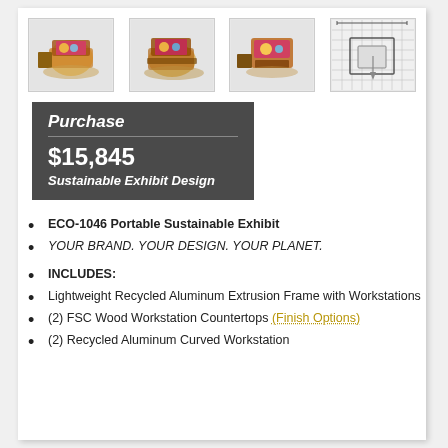[Figure (photo): Four product thumbnail images of ECO-1046 portable sustainable exhibit booth from different angles, including a floor plan view.]
Purchase
$15,845
Sustainable Exhibit Design
ECO-1046 Portable Sustainable Exhibit
YOUR BRAND. YOUR DESIGN. YOUR PLANET.
INCLUDES:
Lightweight Recycled Aluminum Extrusion Frame with Workstations
(2) FSC Wood Workstation Countertops (Finish Options)
(2) Recycled Aluminum Curved Workstation